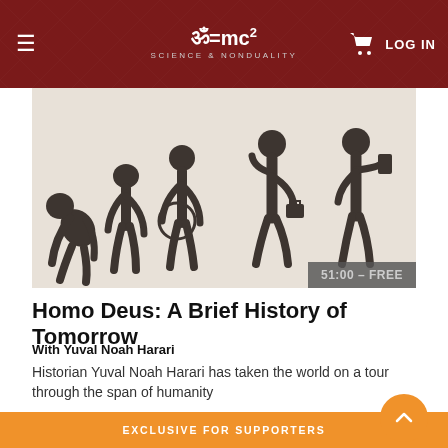ॐ=mc² SCIENCE & NONDUALITY | LOG IN
[Figure (illustration): Classic human evolution march silhouette showing progression from hunched ape figures to modern human looking at smartphone, light beige background, badge showing '51:00 – FREE' in bottom right]
Homo Deus: A Brief History of Tomorrow
With Yuval Noah Harari
Historian Yuval Noah Harari has taken the world on a tour through the span of humanity
EXCLUSIVE FOR SUPPORTERS